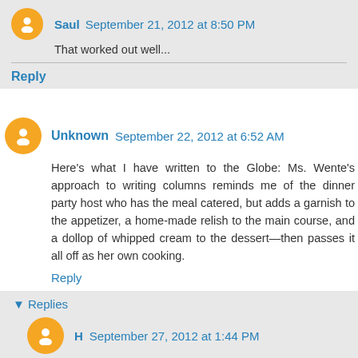Saul  September 21, 2012 at 8:50 PM
That worked out well...
Reply
Unknown  September 22, 2012 at 6:52 AM
Here's what I have written to the Globe: Ms. Wente's approach to writing columns reminds me of the dinner party host who has the meal catered, but adds a garnish to the appetizer, a home-made relish to the main course, and a dollop of whipped cream to the dessert—then passes it all off as her own cooking.
Reply
▾ Replies
H  September 27, 2012 at 1:44 PM
http://www.facebook.com/pages/Margaret-Wente-Should-be-Fired-from-the-Globe-and-